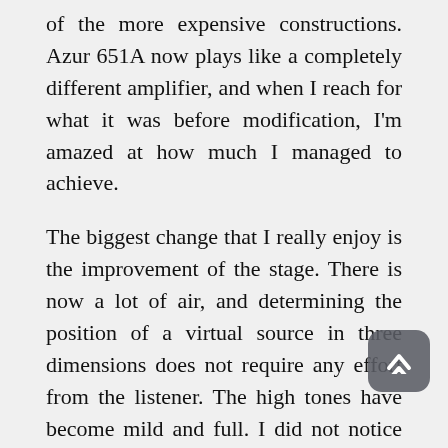of the more expensive constructions. Azur 651A now plays like a completely different amplifier, and when I reach for what it was before modification, I'm amazed at how much I managed to achieve.
The biggest change that I really enjoy is the improvement of the stage. There is now a lot of air, and determining the position of a virtual source in three dimensions does not require any effort from the listener. The high tones have become mild and full. I did not notice any tendencies to sharpness or graininess. I notice subtle sibilants only in tracks, that have a tendency to them or result from the disadvantages of the recording itself. A lot has also changed in the lower registers. Here also more air and dynamics appeared. The bass diversification also increased. Azur 651A had no problem with processing lower registers before the modification, but now this ability has improved significantly. Bass